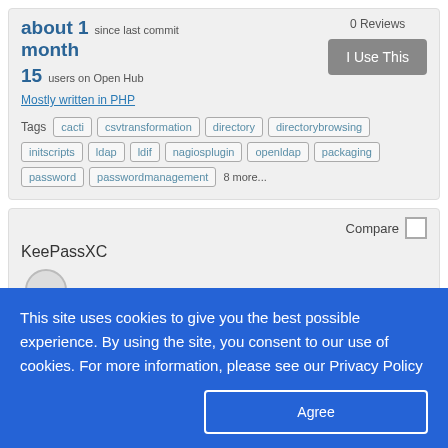about 1 month  since last commit
15  users on Open Hub
0 Reviews
I Use This
Mostly written in PHP
Tags  cacti  csvtransformation  directory  directorybrowsing  initscripts  ldap  ldif  nagiosplugin  openldap  packaging  password  passwordmanagement  8 more...
Compare
KeePassXC
This site uses cookies to give you the best possible experience. By using the site, you consent to our use of cookies. For more information, please see our Privacy Policy
Agree